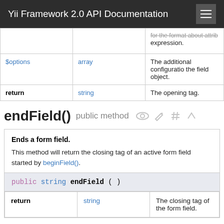Yii Framework 2.0 API Documentation
|  |  |  |
| --- | --- | --- |
|  |  | for the format about attrib expression. |
| $options | array | The additional configuration the field object. |
| return | string | The opening tag. |
endField()  public method
Ends a form field.
This method will return the closing tag of an active form field started by beginField().
public string endField ( )
|  |  |  |
| --- | --- | --- |
| return | string | The closing tag of the form field. |